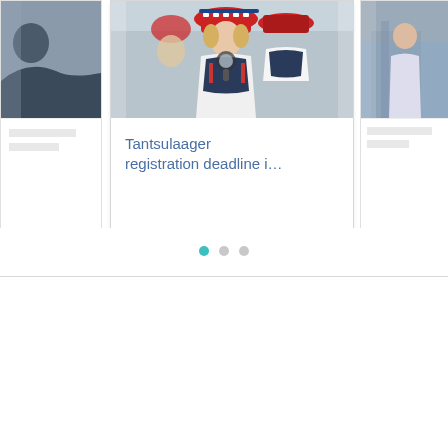[Figure (screenshot): A carousel UI component showing three cards side by side. The left card is partially cropped showing a dark photo section. The center card shows a photo of women in traditional Estonian folk costumes applying makeup, with the title 'Tantsulaager registration deadline i...' in blue text below. The right card is partially cropped showing another photo. Below the carousel are three navigation dots (first dot is teal/active, second and third are gray). A horizontal divider line runs across the page below the dots.]